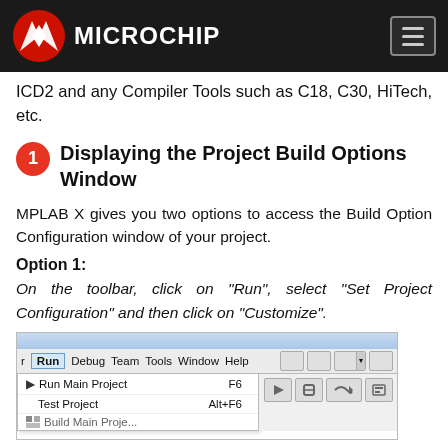Microchip
ICD2 and any Compiler Tools such as C18, C30, HiTech, etc.
1 Displaying the Project Build Options Window
MPLAB X gives you two options to access the Build Option Configuration window of your project.
Option 1:
On the toolbar, click on "Run", select "Set Project Configuration" and then click on "Customize".
[Figure (screenshot): Screenshot of MPLAB X IDE showing the Run menu open with options: Run Main Project (F6), Test Project (Alt+F6), and partially visible Build Main Project option.]